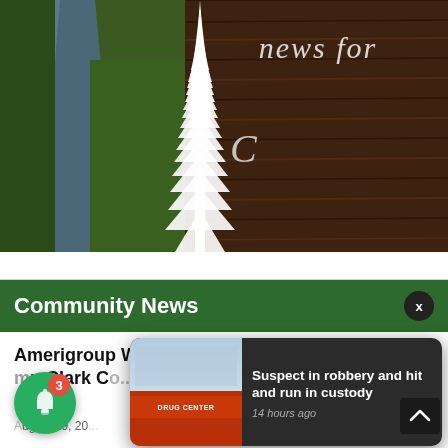[Figure (photo): Hero image showing a forest scene with a road on the left side, a tall white silhouette tree in the center, and a dark wood-grain textured panel on the right with cursive white text reading 'news for' and a 'C' letter below]
Community News
Amerigroup Washington member in Clark Co...
August 19, 20...
[Figure (screenshot): Push notification overlay with a thumbnail image of a building/store and text: 'Suspect in robbery and hit and run in custody' with timestamp '14 hours ago']